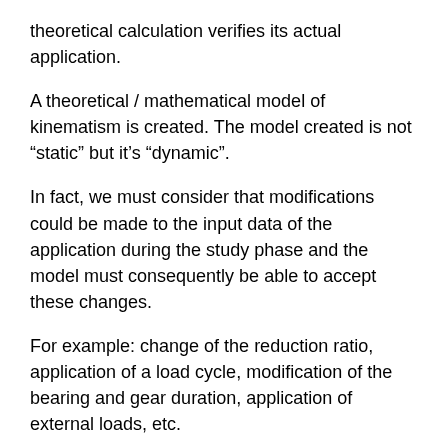theoretical calculation verifies its actual application.
A theoretical / mathematical model of kinematism is created. The model created is not “static” but it’s “dynamic”.
In fact, we must consider that modifications could be made to the input data of the application during the study phase and the model must consequently be able to accept these changes.
For example: change of the reduction ratio, application of a load cycle, modification of the bearing and gear duration, application of external loads, etc.
The model is presented to the customer in a comprehensible way, lastly all the calculation reports that will be requested will be created.
For the realization of this mathematical model we use